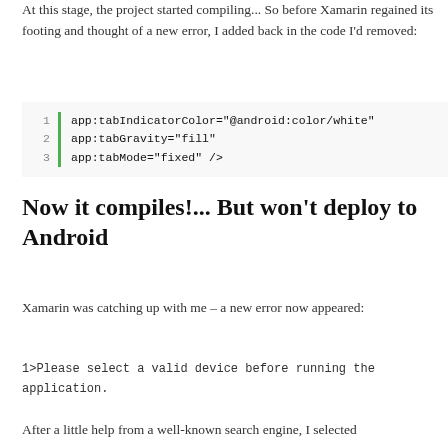At this stage, the project started compiling... So before Xamarin regained its footing and thought of a new error, I added back in the code I'd removed:
app:tabIndicatorColor="@android:color/white"
app:tabGravity="fill"
app:tabMode="fixed" />
Now it compiles!... But won't deploy to Android
Xamarin was catching up with me – a new error now appeared:
1>Please select a valid device before running the application.
After a little help from a well-known search engine, I selected